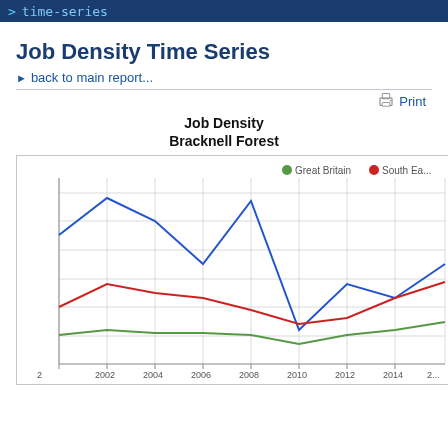> time-series
Job Density Time Series
back to main report...
Print
Job Density
Bracknell Forest
[Figure (line-chart): Job Density Bracknell Forest]